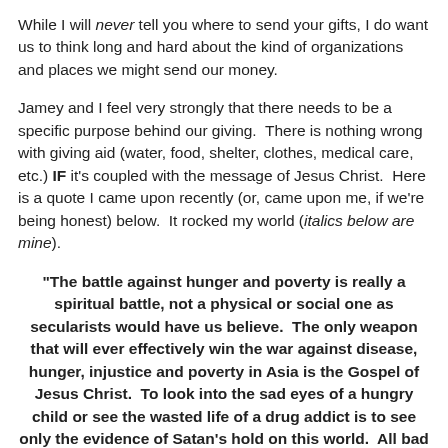While I will never tell you where to send your gifts, I do want us to think long and hard about the kind of organizations and places we might send our money.
Jamey and I feel very strongly that there needs to be a specific purpose behind our giving. There is nothing wrong with giving aid (water, food, shelter, clothes, medical care, etc.) IF it's coupled with the message of Jesus Christ. Here is a quote I came upon recently (or, came upon me, if we're being honest) below. It rocked my world (italics below are mine).
"The battle against hunger and poverty is really a spiritual battle, not a physical or social one as secularists would have us believe. The only weapon that will ever effectively win the war against disease, hunger, injustice and poverty in Asia is the Gospel of Jesus Christ. To look into the sad eyes of a hungry child or see the wasted life of a drug addict is to see only the evidence of Satan's hold on this world. All bad things, whether in Asia or America, are his handiwork. He is the ultimate enemy of mankind, and he will do everything within his considerable power to kill and destroy human beings. Fighting this powerful enemy with physical weapons is like fighting an armored